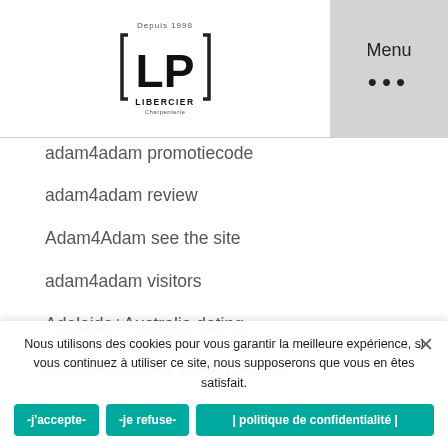Libercier logo and Menu
adam4adam promotiecode
adam4adam review
Adam4Adam see the site
adam4adam visitors
Adelaide+Australia dating
admission essay writing service
Adult dating application pour
Adult dating resenas de aplicaciones
Adult dating sito di incontro
adultfriendfinder Bewertungen
Nous utilisons des cookies pour vous garantir la meilleure expérience, si vous continuez à utiliser ce site, nous supposerons que vous en êtes satisfait.
-j'accepte-   -je refuse-   | politique de confidentialité |